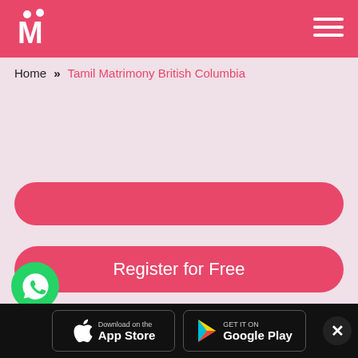[Figure (logo): Matrimony site logo - white M with two figures on pink background, top left]
[Figure (other): Hamburger menu icon (three white lines) on pink background, top right]
Home » Tamil Matrimony British Columbia
[Figure (other): Pink rounded rectangle banner (empty)]
[Figure (other): Pink rounded 'Register for Free' button]
[Figure (other): WhatsApp green phone icon, bottom left]
Tamil Matrimony British Columbia
[Figure (other): App Store download button - black rounded rectangle with Apple logo]
[Figure (other): Google Play download button - black rounded rectangle with Play logo]
[Figure (other): Close X button - dark circle with X]